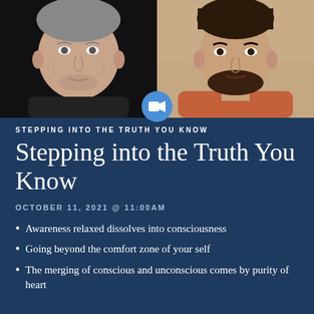[Figure (photo): Two men in a video call screenshot. Left: older man with grey stubble, dark shirt, against black background. Right: younger man with beard, wearing an orange/rust shirt. A Zoom camera icon appears at the center bottom of the images.]
STEPPING INTO THE TRUTH YOU KNOW
Stepping into the Truth You Know
OCTOBER 11, 2021 @ 11:00AM
Awareness relaxed dissolves into consciousness
Going beyond the comfort zone of your self
The merging of conscious and unconscious comes by purity of heart